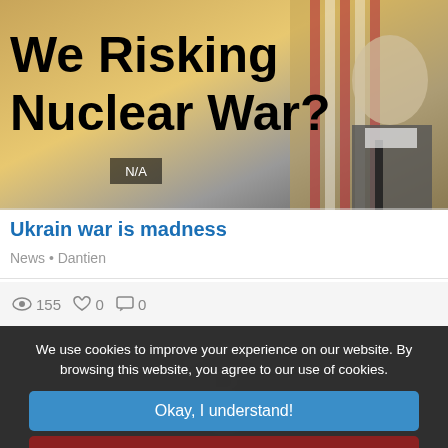[Figure (screenshot): Thumbnail image of article about nuclear war risk, showing text 'We Risking Nuclear War?' over a background with an American flag and an elderly man in a suit. A small 'N/A' badge appears in the lower left of the image.]
Ukrain war is madness
News • Dantien
155   0   0
We use cookies to improve your experience on our website. By browsing this website, you agree to our use of cookies.
Okay, I understand!
Decline
More Info